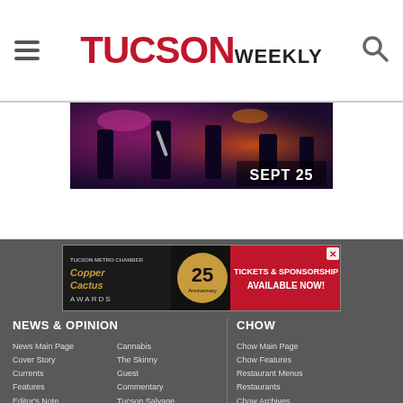TUCSON WEEKLY
[Figure (photo): Concert photo showing musicians on stage with colorful purple/red lighting. Text overlay reads 'SEPT 25'.]
[Figure (photo): Advertisement banner: Copper Cactus Awards - Tucson Metro Chamber - 25th Anniversary - Tickets & Sponsorships Available Now!]
NEWS & OPINION
News Main Page
Cannabis
Cover Story
The Skinny
Currents
Guest Commentary
Features
Tucson Salvage
Editor's Note
CHOW
Chow Main Page
Chow Features
Restaurant Menus
Restaurants
Chow Archives